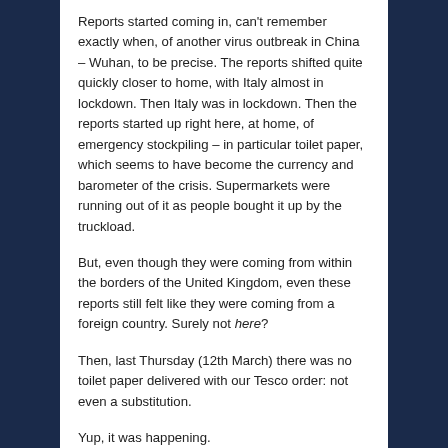Reports started coming in, can't remember exactly when, of another virus outbreak in China – Wuhan, to be precise. The reports shifted quite quickly closer to home, with Italy almost in lockdown. Then Italy was in lockdown. Then the reports started up right here, at home, of emergency stockpiling – in particular toilet paper, which seems to have become the currency and barometer of the crisis. Supermarkets were running out of it as people bought it up by the truckload.
But, even though they were coming from within the borders of the United Kingdom, even these reports still felt like they were coming from a foreign country. Surely not here?
Then, last Thursday (12th March) there was no toilet paper delivered with our Tesco order: not even a substitution.
Yup, it was happening.